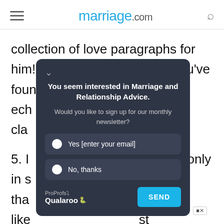marriage.com
collection of love paragraphs for him! Hopefully among them you've found some sentiments that ech them to cla y, we pro
[Figure (screenshot): Qualaroo popup modal on marriage.com asking user to sign up for monthly newsletter about Marriage and Relationship Advice, with Yes/No options and a SEND button]
5. I ale, only in s reamed tha someone like st am grateful for